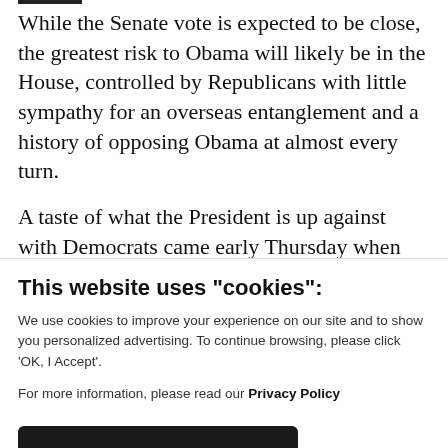While the Senate vote is expected to be close, the greatest risk to Obama will likely be in the House, controlled by Republicans with little sympathy for an overseas entanglement and a history of opposing Obama at almost every turn.
A taste of what the President is up against with Democrats came early Thursday when
This website uses "cookies":
We use cookies to improve your experience on our site and to show you personalized advertising. To continue browsing, please click ‘OK, I Accept’.
For more information, please read our Privacy Policy
Ok, I Accept